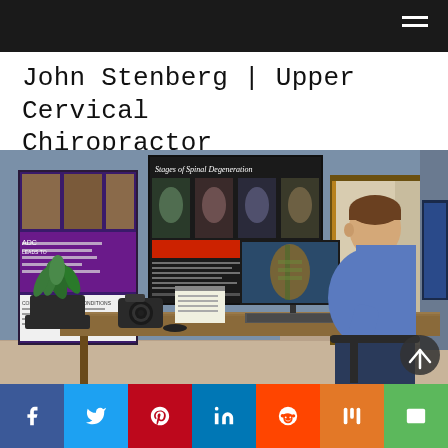John Stenberg | Upper Cervical Chiropractor
[Figure (photo): A chiropractor (John Stenberg) seated at a wooden desk in an office, writing notes while looking at a monitor displaying spinal imagery. Medical posters on the wall including 'Stages of Spinal Degeneration'. A camera and potted plant are also on the desk.]
f  Twitter  Pinterest  in  Reddit  Mix  Email